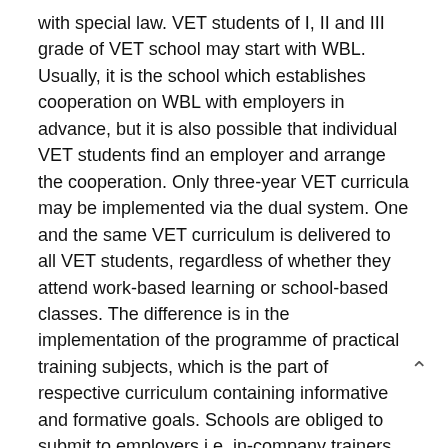with special law. VET students of I, II and III grade of VET school may start with WBL. Usually, it is the school which establishes cooperation on WBL with employers in advance, but it is also possible that individual VET students find an employer and arrange the cooperation. Only three-year VET curricula may be implemented via the dual system. One and the same VET curriculum is delivered to all VET students, regardless of whether they attend work-based learning or school-based classes. The difference is in the implementation of the programme of practical training subjects, which is the part of respective curriculum containing informative and formative goals. Schools are obliged to submit to employers i.e. in-company trainers the programme of practical training subjects.
When schools finishes negotiations with employers and submits data to the Ministry of Education about employers that want to start with WBL, including the number of students they are ready to educate, the